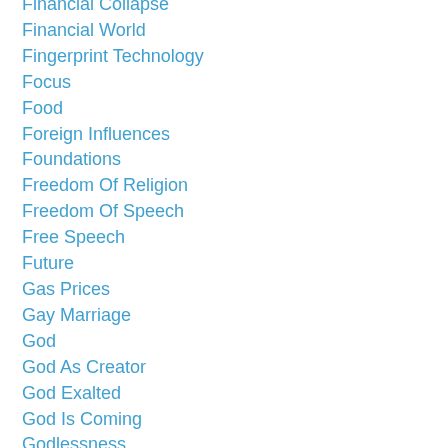Financial Collapse
Financial World
Fingerprint Technology
Focus
Food
Foreign Influences
Foundations
Freedom Of Religion
Freedom Of Speech
Free Speech
Future
Gas Prices
Gay Marriage
God
God As Creator
God Exalted
God Is Coming
Godlessness
Godliness
God's Discipline